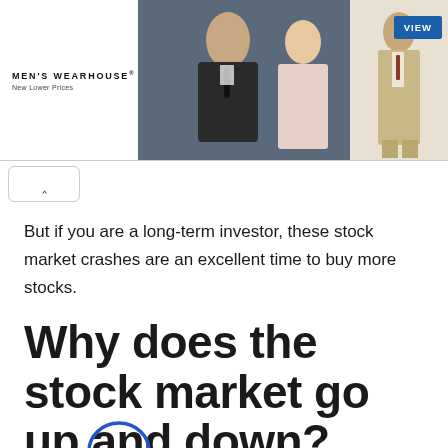[Figure (photo): Men's Wearhouse advertisement banner showing a couple in formal attire (man in dark suit, woman in gown) on the left-center, and a man in a tan/beige suit on the right, with a blue 'VIEW' button. Logo reads 'MEN'S WEARHOUSE New Lower Prices'.]
But if you are a long-term investor, these stock market crashes are an excellent time to buy more stocks.
Why does the stock market go up and down?